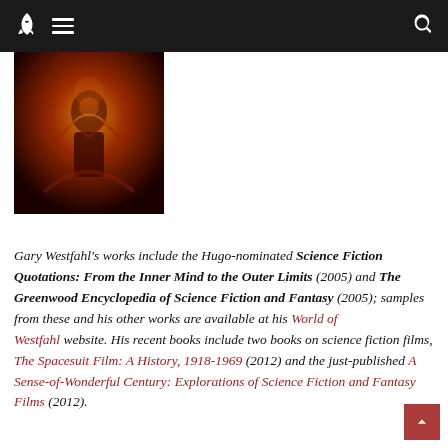Navigation bar with rocket logo, hamburger menu, and search icon
[Figure (illustration): Book cover image with dark reddish-brown fantasy/sci-fi artwork showing figures]
Gary Westfahl's works include the Hugo-nominated Science Fiction Quotations: From the Inner Mind to the Outer Limits (2005) and The Greenwood Encyclopedia of Science Fiction and Fantasy (2005); samples from these and his other works are available at his World of Westfahl website. His recent books include two books on science fiction films, The Spacesuit Film: A History, 1918-1969 (2012) and the just-published A Sense-of-Wonderful Century: Explorations of Science Fiction and Fantasy Films (2012).